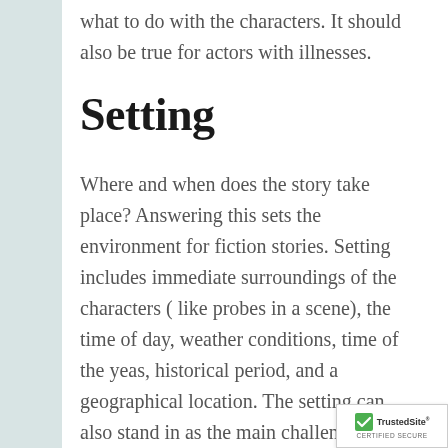what to do with the characters. It should also be true for actors with illnesses.
Setting
Where and when does the story take place? Answering this sets the environment for fiction stories. Setting includes immediate surroundings of the characters ( like probes in a scene), the time of day, weather conditions, time of the yeas, historical period, and a geographical location. The setting can also stand in as the main challenge characters must face